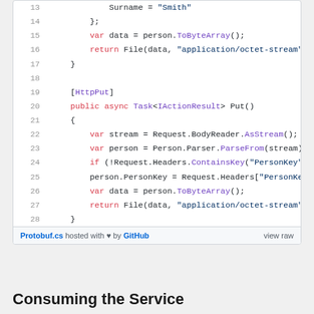[Figure (screenshot): GitHub Gist code viewer showing C# code lines 13-28, a code snippet for a Web API controller with HttpPut method, followed by a file footer 'Protobuf.cs hosted with heart by GitHub' and 'view raw' link.]
Consuming the Service